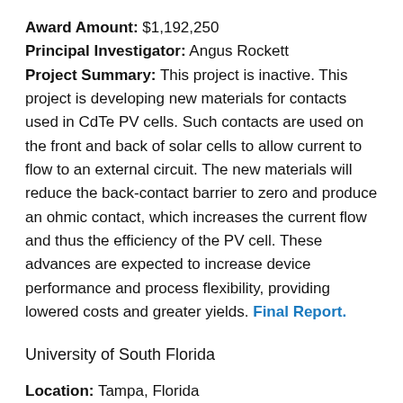Award Amount: $1,192,250
Principal Investigator: Angus Rockett
Project Summary: This project is inactive. This project is developing new materials for contacts used in CdTe PV cells. Such contacts are used on the front and back of solar cells to allow current to flow to an external circuit. The new materials will reduce the back-contact barrier to zero and produce an ohmic contact, which increases the current flow and thus the efficiency of the PV cell. These advances are expected to increase device performance and process flexibility, providing lowered costs and greater yields. Final Report.
University of South Florida
Location: Tampa, Florida